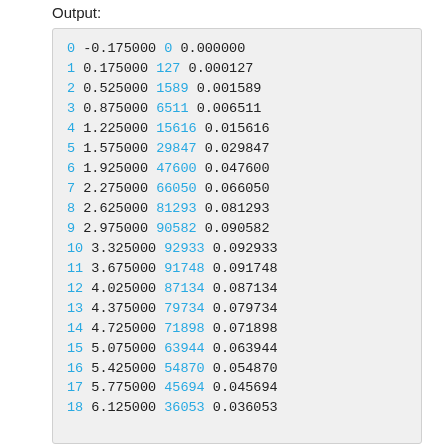Output:
0 -0.175000 0 0.000000
1 0.175000 127 0.000127
2 0.525000 1589 0.001589
3 0.875000 6511 0.006511
4 1.225000 15616 0.015616
5 1.575000 29847 0.029847
6 1.925000 47600 0.047600
7 2.275000 66050 0.066050
8 2.625000 81293 0.081293
9 2.975000 90582 0.090582
10 3.325000 92933 0.092933
11 3.675000 91748 0.091748
12 4.025000 87134 0.087134
13 4.375000 79734 0.079734
14 4.725000 71898 0.071898
15 5.075000 63944 0.063944
16 5.425000 54870 0.054870
17 5.775000 45694 0.045694
18 6.125000 36053 0.036053